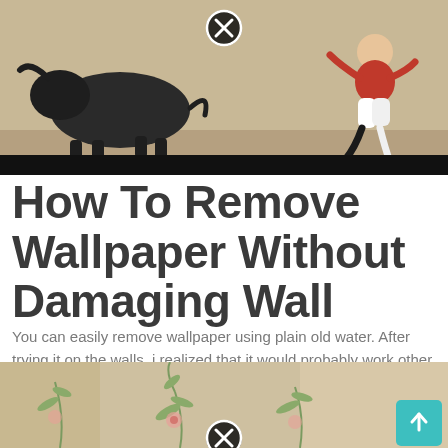[Figure (illustration): Illustration of a bull and a person running, on a tan/beige background, with a black X close button overlay. A dark banner/bar appears below the illustration.]
How To Remove Wallpaper Without Damaging Wall
You can easily remove wallpaper using plain old water. After trying it on the walls, i realized that it would probably work other places, too.
[Figure (photo): Close-up photo of wallpaper with a floral/botanical pattern on a beige background, with a black X close button overlay and a teal scroll-to-top arrow button in the bottom right corner.]